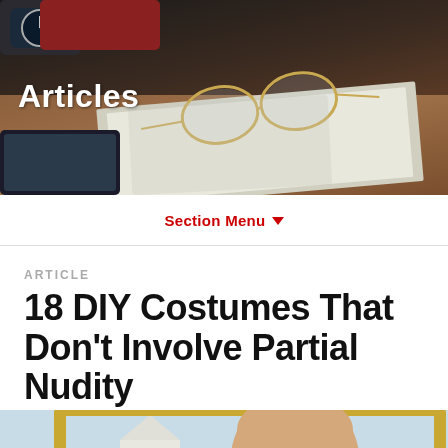[Figure (photo): Hero banner photo showing a desk with glasses, a keyboard, papers, a watch, and a tablet — dark warm tones]
Articles
Section Menu ▼
ARTICLE
18 DIY Costumes That Don't Involve Partial Nudity
[Figure (photo): Bottom portion showing a framed painting of American Gothic with an elderly bald man's face, and a blue accessibility icon button in lower right]